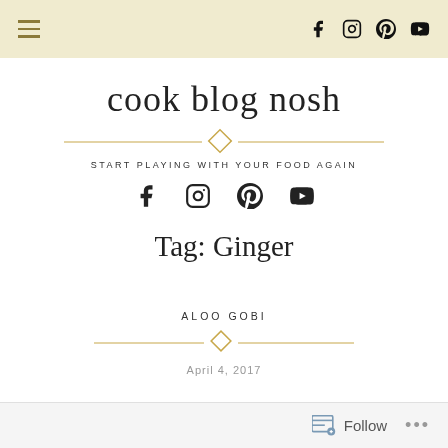cook blog nosh — navigation bar with hamburger menu and social icons
cook blog nosh
START PLAYING WITH YOUR FOOD AGAIN
[Figure (other): Social media icons row: Facebook, Instagram, Pinterest, YouTube]
Tag: Ginger
ALOO GOBI
April 4, 2017
Follow ...